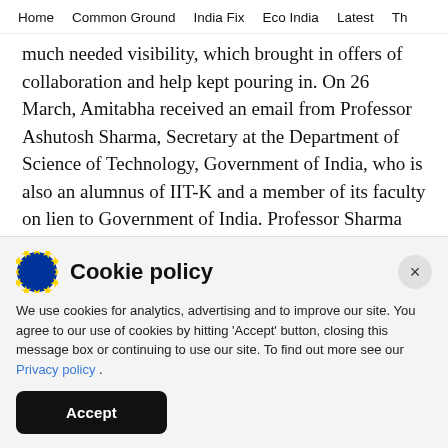Home   Common Ground   India Fix   Eco India   Latest   Th
much needed visibility, which brought in offers of collaboration and help kept pouring in. On 26 March, Amitabha received an email from Professor Ashutosh Sharma, Secretary at the Department of Science of Technology, Government of India, who is also an alumnus of IIT-K and a member of its faculty on lien to Government of India. Professor Sharma introduced Amitabha to a global team of volunteers
Cookie policy
We use cookies for analytics, advertising and to improve our site. You agree to our use of cookies by hitting 'Accept' button, closing this message box or continuing to use our site. To find out more see our Privacy policy .
Accept